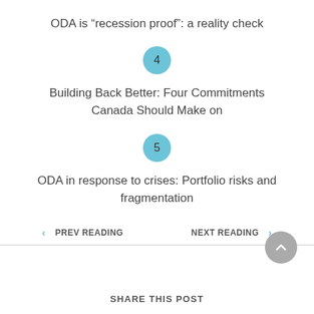ODA is “recession proof”: a reality check
4
Building Back Better: Four Commitments Canada Should Make on
5
ODA in response to crises: Portfolio risks and fragmentation
‹ PREV READING
NEXT READING ›
SHARE THIS POST